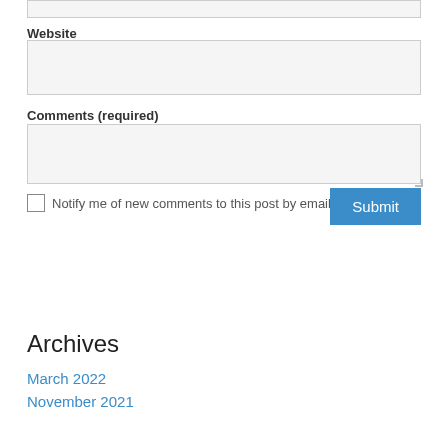Website
Comments (required)
Notify me of new comments to this post by email
Archives
March 2022
November 2021